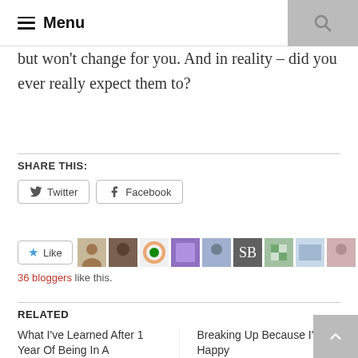Menu
but won't change for you. And in reality – did you ever really expect them to?
SHARE THIS:
[Figure (screenshot): Twitter and Facebook share buttons]
[Figure (screenshot): Like button with 36 blogger avatars]
36 bloggers like this.
RELATED
What I've Learned After 1 Year Of Being In A
Breaking Up Because I'm Happy